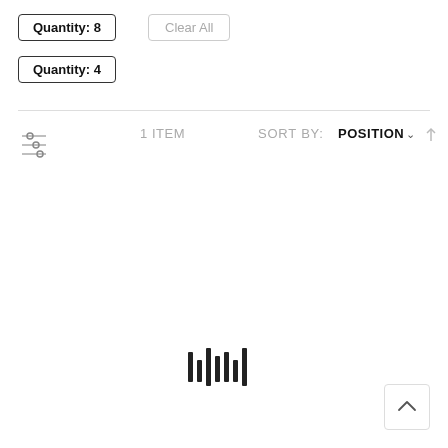Quantity: 8
Clear All
Quantity: 4
1 ITEM
SORT BY:
POSITION
[Figure (other): Loading spinner / barcode-like icon with vertical bars]
[Figure (other): Back to top button with upward chevron arrow]